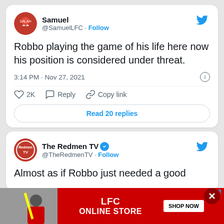[Figure (screenshot): Tweet from Samuel @SamuelLFC with Twitter bird icon. Avatar shows a person wearing a red jersey with number 11.]
Samuel
@SamuelLFC · Follow
Robbo playing the game of his life here now his position is considered under threat.
3:14 PM · Nov 27, 2021
2K   Reply   Copy link
Read 20 replies
[Figure (screenshot): Tweet from The Redmen TV @TheRedmenTV with verified badge and Twitter bird icon. Redmen TV logo avatar.]
The Redmen TV
@TheRedmenTV · Follow
Almost as if Robbo just needed a good
[Figure (photo): LFC Online Store advertisement banner in red with person in red jacket, shop now button, and X close button.]